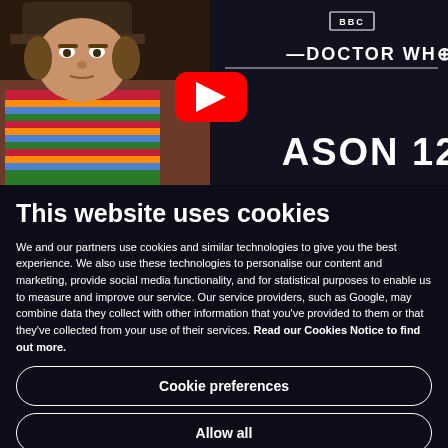[Figure (screenshot): Doctor Who YouTube thumbnail showing the Fourth Doctor (Tom Baker) wearing a multicolored scarf and hat, with the BBC Doctor Who logo and text 'SEASON 12' on a dark background, with a YouTube play button overlay.]
This website uses cookies
We and our partners use cookies and similar technologies to give you the best experience. We also use these technologies to personalise our content and marketing, provide social media functionality, and for statistical purposes to enable us to measure and improve our service. Our service providers, such as Google, may combine data they collect with other information that you've provided to them or that they've collected from your use of their services. Read our Cookies Notice to find out more.
Cookie preferences
Allow all